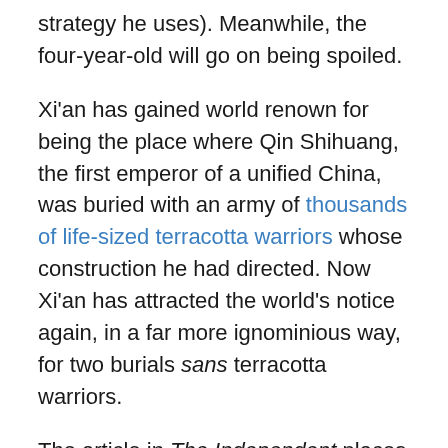strategy he uses). Meanwhile, the four-year-old will go on being spoiled.
Xi’an has gained world renown for being the place where Qin Shihuang, the first emperor of a unified China, was buried with an army of thousands of life-sized terracotta warriors whose construction he had directed. Now Xi’an has attracted the world’s notice again, in a far more ignominious way, for two burials sans terracotta warriors.
The article in The Independent places this Xi’anese double-homicide in context with other high-profile episodes of karaoke-related violence. Undoubtedly the most celebrated examples have taken place in the Philippines; as The Independent puts it, “the Frank Sinatra song ‘My Way’ has had to be removed from many songbooks” in that country “after sub-standard renditions provoked a string of